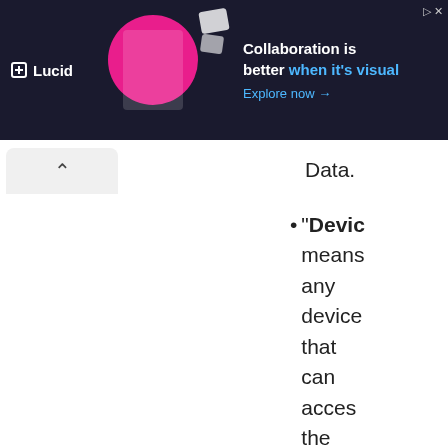[Figure (other): Lucid advertisement banner with logo, person working at desk illustration, and text 'Collaboration is better when it's visual. Explore now →']
Data.
"Device" means any device that can access the Service such as a computer a